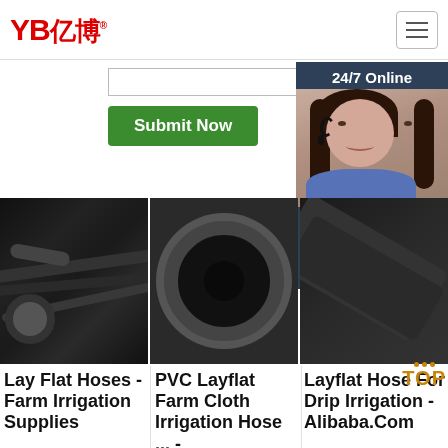[Figure (logo): YB亿博 logo in red with registered trademark symbol]
[Figure (screenshot): Hamburger/menu icon button]
[Figure (screenshot): Search input field]
Submit Now
24/7 Online
[Figure (photo): Customer service representative with headset, smiling]
Click here for free chat !
QUOTATION
[Figure (photo): Hands holding drip irrigation hoses/black cables bundle]
[Figure (photo): Close-up of black reinforced PVC layflat hose end]
[Figure (photo): Diagonal layflat hose/irrigation pipe close-up]
Lay Flat Hoses - Farm Irrigation Supplies
PVC Layflat Farm Cloth Irrigation Hose ... -
Layflat Hose For Drip Irrigation - Alibaba.Com